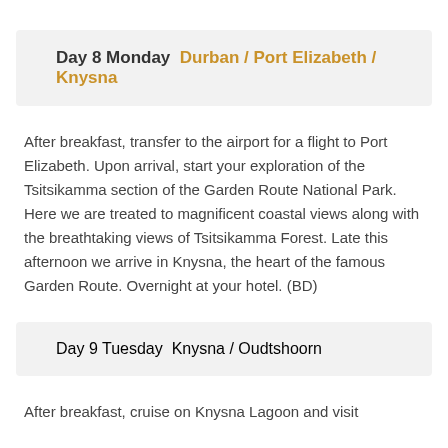Day 8 Monday   Durban / Port Elizabeth / Knysna
After breakfast, transfer to the airport for a flight to Port Elizabeth. Upon arrival, start your exploration of the Tsitsikamma section of the Garden Route National Park. Here we are treated to magnificent coastal views along with the breathtaking views of Tsitsikamma Forest. Late this afternoon we arrive in Knysna, the heart of the famous Garden Route. Overnight at your hotel. (BD)
Day 9 Tuesday   Knysna / Oudtshoorn
After breakfast, cruise on Knysna Lagoon and visit